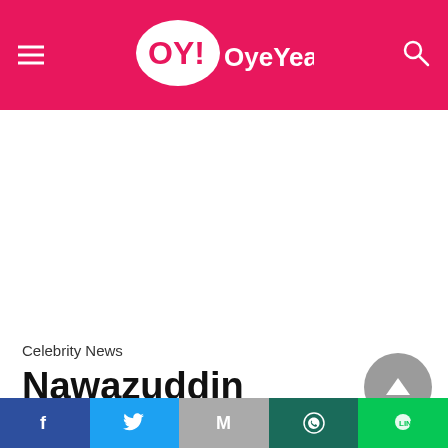OY! OyeYeah!
Celebrity News
Nawazuddin Siddiqui
[Figure (infographic): Social share bar with Facebook, Twitter, Gmail, WhatsApp, and Line icons]